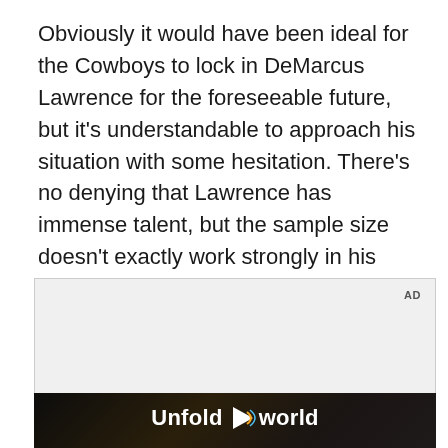Obviously it would have been ideal for the Cowboys to lock in DeMarcus Lawrence for the foreseeable future, but it's understandable to approach his situation with some hesitation. There's no denying that Lawrence has immense talent, but the sample size doesn't exactly work strongly in his favor.
[Figure (other): Advertisement placeholder box with 'AD' label in top right corner, followed by a dark video advertisement frame showing a woman holding a Samsung foldable phone in a car interior, with the text 'Unfold your world' and a play button overlay.]